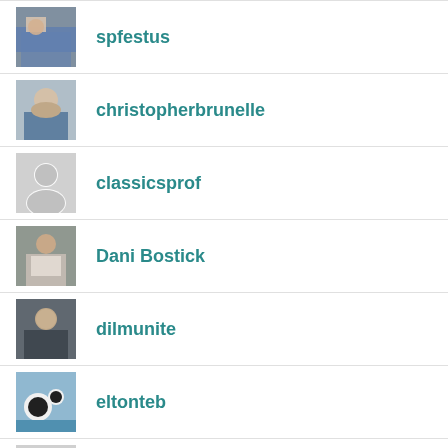spfestus
christopherbrunelle
classicsprof
Dani Bostick
dilmunite
eltonteb
EpeaPteroent@